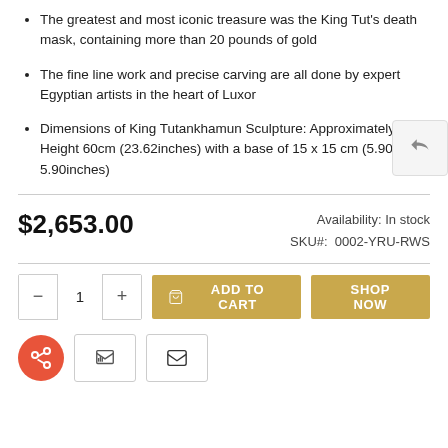The greatest and most iconic treasure was the King Tut's death mask, containing more than 20 pounds of gold
The fine line work and precise carving are all done by expert Egyptian artists in the heart of Luxor
Dimensions of King Tutankhamun Sculpture: Approximately Height 60cm (23.62inches) with a base of 15 x 15 cm (5.90 x 5.90inches)
$2,653.00
Availability: In stock
SKU#:  0002-YRU-RWS